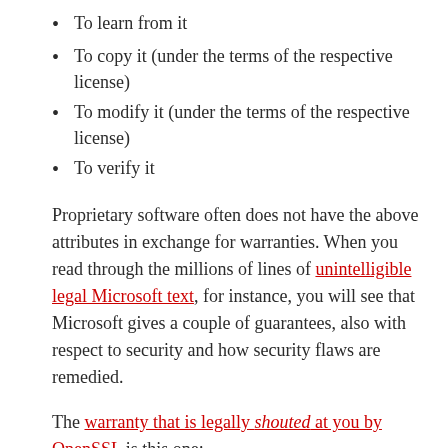To learn from it
To copy it (under the terms of the respective license)
To modify it (under the terms of the respective license)
To verify it
Proprietary software often does not have the above attributes in exchange for warranties. When you read through the millions of lines of unintelligible legal Microsoft text, for instance, you will see that Microsoft gives a couple of guarantees, also with respect to security and how security flaws are remedied.
The warranty that is legally shouted at you by OpenSSL is this one: